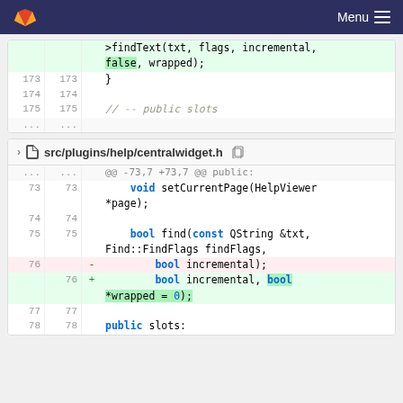GitLab Menu
| old | new | code |
| --- | --- | --- |
|  |  | >findText(txt, flags, incremental, |
|  |  | false, wrapped); |
| 173 | 173 | } |
| 174 | 174 |  |
| 175 | 175 | // -- public slots |
| ... | ... |  |
src/plugins/help/centralwidget.h
| old | new | +/- | code |
| --- | --- | --- | --- |
| ... | ... |  | @@ -73,7 +73,7 @@ public: |
| 73 | 73 |  | void setCurrentPage(HelpViewer *page); |
| 74 | 74 |  |  |
| 75 | 75 |  | bool find(const QString &txt, Find::FindFlags findFlags, |
| 76 |  | - | bool incremental); |
|  | 76 | + | bool incremental, bool *wrapped = 0); |
| 77 | 77 |  |  |
| 78 | 78 |  | public slots: |